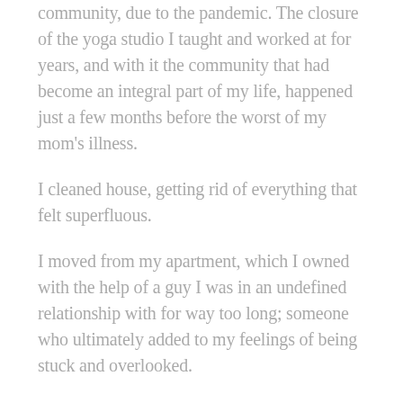community, due to the pandemic. The closure of the yoga studio I taught and worked at for years, and with it the community that had become an integral part of my life, happened just a few months before the worst of my mom's illness.
I cleaned house, getting rid of everything that felt superfluous.
I moved from my apartment, which I owned with the help of a guy I was in an undefined relationship with for way too long; someone who ultimately added to my feelings of being stuck and overlooked.
Finally, after many failed attempts, I cut the cord on said undefined relationship/situationship.